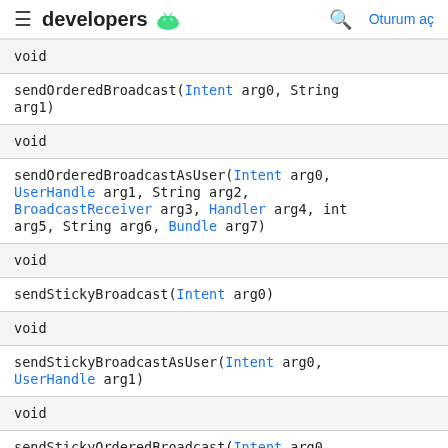developers [android logo] | [search] Oturum aç
| void |
| sendOrderedBroadcast(Intent arg0, String arg1) |
| void |
| sendOrderedBroadcastAsUser(Intent arg0, UserHandle arg1, String arg2, BroadcastReceiver arg3, Handler arg4, int arg5, String arg6, Bundle arg7) |
| void |
| sendStickyBroadcast(Intent arg0) |
| void |
| sendStickyBroadcastAsUser(Intent arg0, UserHandle arg1) |
| void |
| sendStickyOrderedBroadcast(Intent arg0, BroadcastReceiver arg1, Handler arg2, int... |